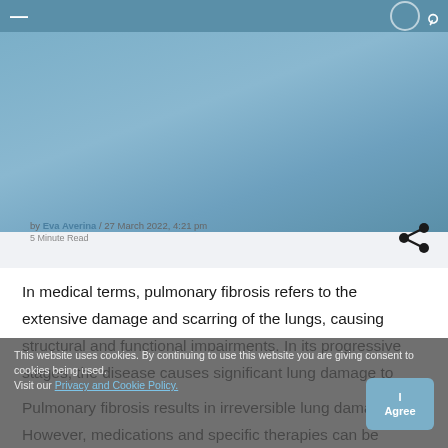Navigation bar with hamburger menu and icons
[Figure (photo): Blue-toned header image area for article about pulmonary fibrosis]
by Eva Averina / 27 March 2022, 4:21 pm
5 Minute Read
In medical terms, pulmonary fibrosis refers to the extensive damage and scarring of the lungs, causing structural and functional impairments. In its progressive stages, the disease causes significant lung damage to cause breathlessness and hypoxia.
Pulmonary fibrosis results in irreversible lung damage. However, medications and specific therapies can be employed to manage symptoms and improve quality of life. The severity of the symptoms of pulmonary fibrosis varies
This website uses cookies. By continuing to use this website you are giving consent to cookies being used.
Visit our Privacy and Cookie Policy.